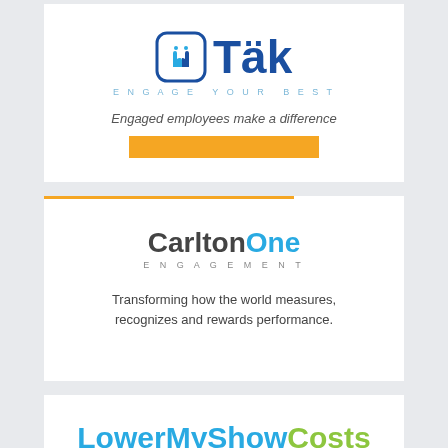[Figure (logo): Tak logo with hand icons in a blue rounded square, bold blue 'Täk' text, light blue tagline 'ENGAGE YOUR BEST', italic slogan 'Engaged employees make a difference', and an orange button bar]
[Figure (logo): CarltonOne Engagement logo with orange horizontal line at top, 'Carlton' in dark gray and 'One' in blue bold text, 'ENGAGEMENT' letterspace tagline, and slogan 'Transforming how the world measures, recognizes and rewards performance.']
[Figure (logo): LowerMyShowCosts logo in blue and green text, with slogan 'High impact agile exhibits']